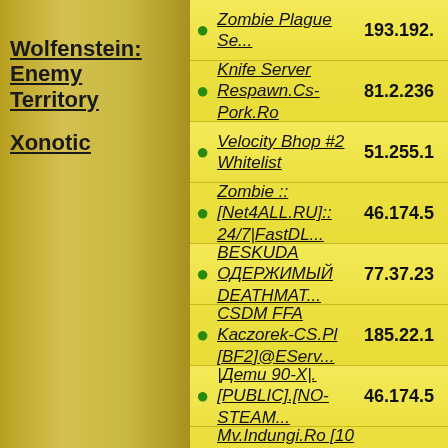Wolfenstein: Enemy Territory
Xonotic
Zombie Plague Se... 193.192.
Knife Server Respawn.Cs-Pork.Ro 81.2.236
Velocity Bhop #2 Whitelist 51.255.1
Zombie ::[Net4ALL.RU]:: 24/7|FastDL... 46.174.5
BESKUDA ОДЕРЖИМЫЙ DEATHMAT... 77.37.23
CSDM FFA Kaczorek-CS.Pl [BF2]@EServ... 185.22.1
|Дети 90-Х|.[PUBLIC].[NO-STEAM... 46.174.5
Mv.Indungi.Ro [10 Euro Premiu] [ADM... 93.119.2
RESPAWN.LALEAGANE.RO [DEATHMATCH CS... 89.44.24
VIP.INDUNGI.RO # SINCE FEBRUARY 201... 89.44.24
XGames.LvlOnlY